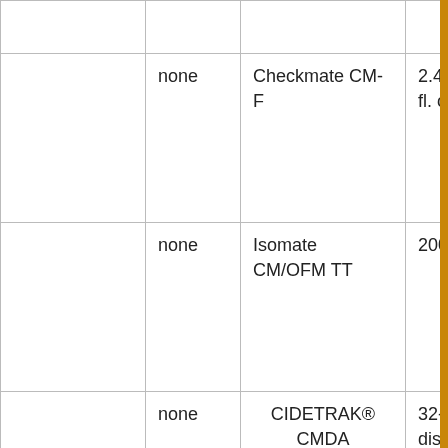|  |  |  |  |  |
|  | none | Checkmate CM-F | 2.4 to 4.8 fl. oz. | 4 |
|  | none | Isomate CM/OFM TT | 200 ties | 0 |
|  | none | CIDETRAK® CMDA | 32-36 dispensors | 0 |